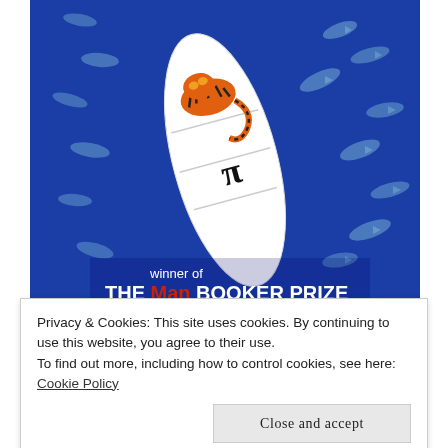[Figure (photo): Book cover of Life of Pi — aerial view of a white lifeboat on deep blue ocean water with fish visible beneath the surface. A tiger lies in the boat. Text on cover reads 'winner of THE Man BOOKER PRIZE'.]
Privacy & Cookies: This site uses cookies. By continuing to use this website, you agree to their use.
To find out more, including how to control cookies, see here: Cookie Policy
Close and accept
recorde pessoal